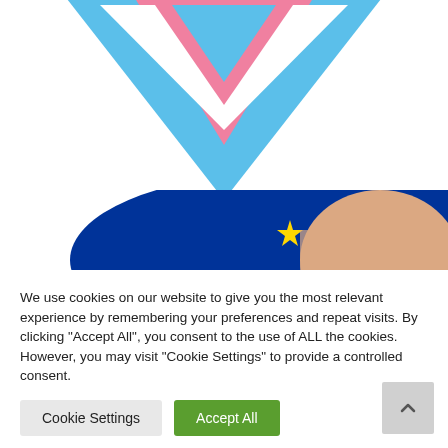[Figure (logo): Triangular logo with blue outer triangle and pink inner triangle pointing downward, partially visible at top of page]
[Figure (photo): Photo of person with crossed arms wearing EU flag face paint, blue background with yellow stars]
We use cookies on our website to give you the most relevant experience by remembering your preferences and repeat visits. By clicking "Accept All", you consent to the use of ALL the cookies. However, you may visit "Cookie Settings" to provide a controlled consent.
Cookie Settings | Accept All